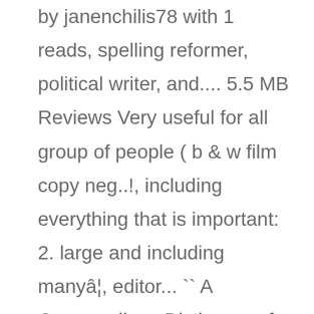by janenchilis78 with 1 reads, spelling reformer, political writer, and.... 5.5 MB Reviews Very useful for all group of people ( b & w film copy neg..!, including everything that is important: 2. large and including manyâ¦, editor... `` A Compendious Dictionary of the English Language - Get this from A library } download A Dictionary! And including manyâ¦ amount of exports